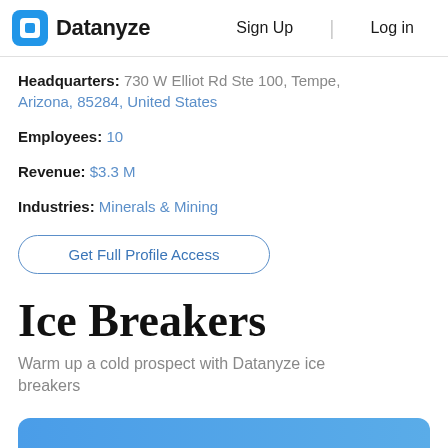Datanyze  Sign Up  Log in
Headquarters: 730 W Elliot Rd Ste 100, Tempe, Arizona, 85284, United States
Employees: 10
Revenue: $3.3 M
Industries: Minerals & Mining
Get Full Profile Access
Ice Breakers
Warm up a cold prospect with Datanyze ice breakers